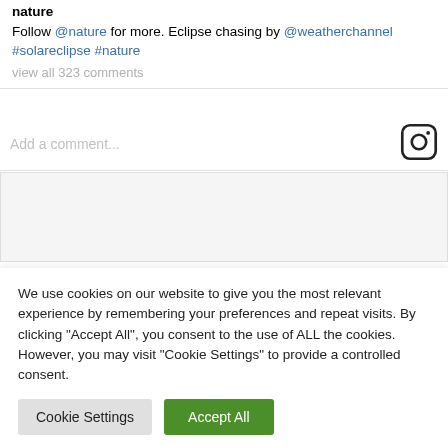nature
Follow @nature for more. Eclipse chasing by @weatherchannel #solareclipse #nature
view all 323 comments
Add a comment...
[Figure (other): Instagram logo icon]
[Figure (other): Advertisement box, empty gray area]
We use cookies on our website to give you the most relevant experience by remembering your preferences and repeat visits. By clicking "Accept All", you consent to the use of ALL the cookies. However, you may visit "Cookie Settings" to provide a controlled consent.
Cookie Settings
Accept All